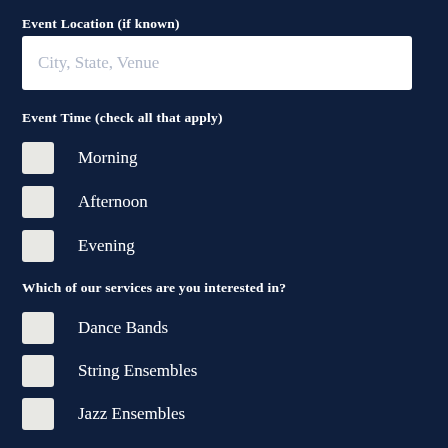Event Location (if known)
City, State, Venue
Event Time (check all that apply)
Morning
Afternoon
Evening
Which of our services are you interested in?
Dance Bands
String Ensembles
Jazz Ensembles
DJ
What type of event?
Wedding